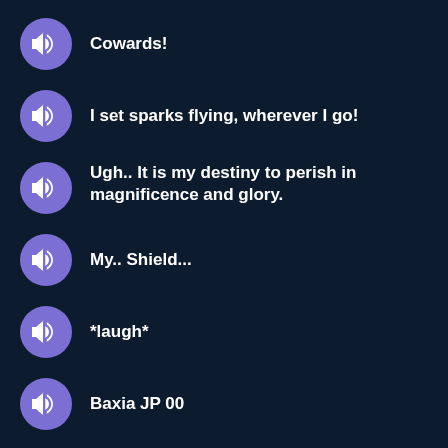Cowards!
I set sparks flying, wherever I go!
Ugh.. It is my destiny to perish in magnificence and glory.
My.. Shield...
*laugh*
Baxia JP 00
Baxia JP 01